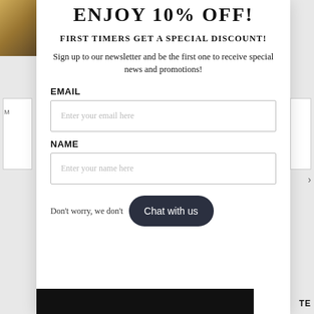ENJOY 10% OFF!
FIRST TIMERS GET A SPECIAL DISCOUNT!
Sign up to our newsletter and be the first one to receive special news and promotions!
EMAIL
Enter your email here
NAME
Enter your name here
Don't worry, we don't
Chat with us
TE